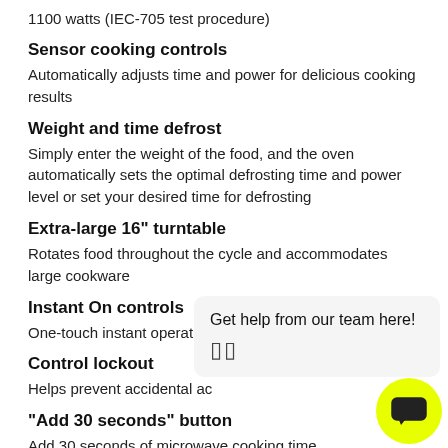1100 watts (IEC-705 test procedure)
Sensor cooking controls
Automatically adjusts time and power for delicious cooking results
Weight and time defrost
Simply enter the weight of the food, and the oven automatically sets the optimal defrosting time and power level or set your desired time for defrosting
Extra-large 16" turntable
Rotates food throughout the cycle and accommodates large cookware
Instant On controls
One-touch instant operation
Control lockout
Helps prevent accidental activation
"Add 30 seconds" button
Add 30 seconds of microwave cooking time
Kitchen timer